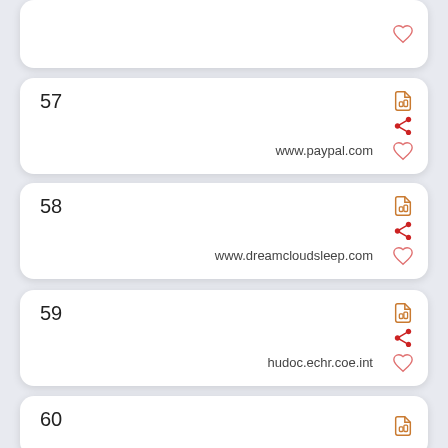(partial card, top)
57 www.paypal.com
58 www.dreamcloudsleep.com
59 hudoc.echr.coe.int
60 (partial)